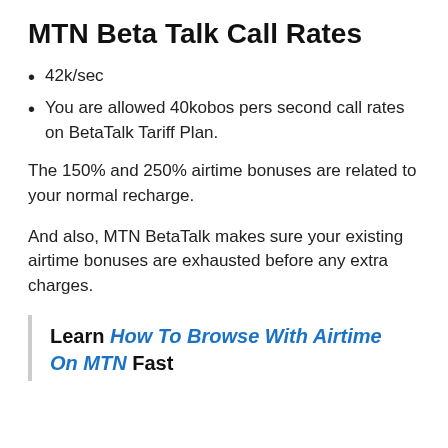MTN Beta Talk Call Rates
42k/sec
You are allowed 40kobos pers second call rates on BetaTalk Tariff Plan.
The 150% and 250% airtime bonuses are related to your normal recharge.
And also, MTN BetaTalk makes sure your existing airtime bonuses are exhausted before any extra charges.
Learn How To Browse With Airtime On MTN Fast